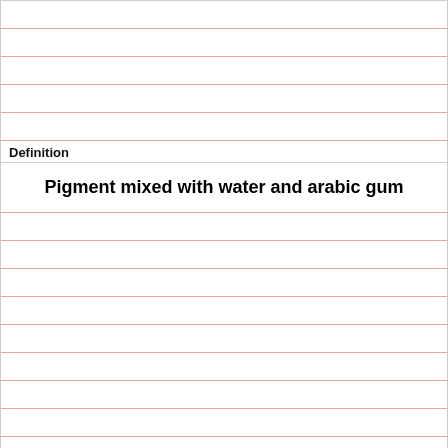Definition
Pigment mixed with water and arabic gum
Term
Gouache